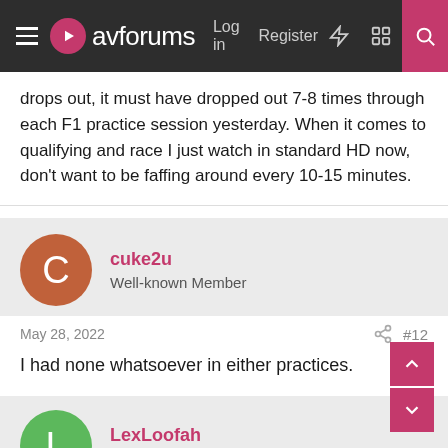avforums — Log in  Register
drops out, it must have dropped out 7-8 times through each F1 practice session yesterday. When it comes to qualifying and race I just watch in standard HD now, don't want to be faffing around every 10-15 minutes.
cuke2u
Well-known Member
May 28, 2022  #12
I had none whatsoever in either practices.

Zero dropout in fp3 as well..

Last edited: May 28, 2022
LexLoofah
Active Member